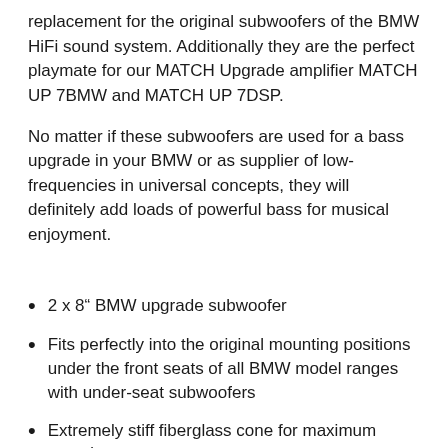replacement for the original subwoofers of the BMW HiFi sound system. Additionally they are the perfect playmate for our MATCH Upgrade amplifier MATCH UP 7BMW and MATCH UP 7DSP.
No matter if these subwoofers are used for a bass upgrade in your BMW or as supplier of low-frequencies in universal concepts, they will definitely add loads of powerful bass for musical enjoyment.
2 x 8” BMW upgrade subwoofer
Fits perfectly into the original mounting positions under the front seats of all BMW model ranges with under-seat subwoofers
Extremely stiff fiberglass cone for maximum sound pressure
1 x 2 Ohms impedance per woofer